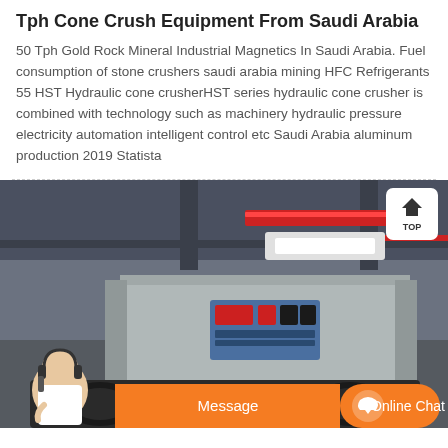Tph Cone Crush Equipment From Saudi Arabia
50 Tph Gold Rock Mineral Industrial Magnetics In Saudi Arabia. Fuel consumption of stone crushers saudi arabia mining HFC Refrigerants 55 HST Hydraulic cone crusherHST series hydraulic cone crusher is combined with technology such as machinery hydraulic pressure electricity automation intelligent control etc Saudi Arabia aluminum production 2019 Statista
[Figure (photo): Industrial cone crushing equipment inside a warehouse/factory setting. A large silver/metallic machine with a control panel is visible. A customer service representative with headset is shown in the lower left. An orange chat bar at the bottom shows 'Message' and 'Online Chat' buttons with a TOP navigation button in the upper right of the photo.]